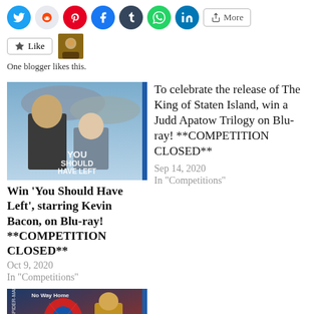[Figure (screenshot): Social media share buttons: Twitter, Reddit, Pinterest, Facebook, Tumblr, WhatsApp, LinkedIn circles and a More button]
[Figure (screenshot): Like button with star icon and a blogger avatar thumbnail]
One blogger likes this.
[Figure (photo): Movie cover for 'You Should Have Left']
Win 'You Should Have Left', starring Kevin Bacon, on Blu-ray! **COMPETITION CLOSED**
Oct 9, 2020
In "Competitions"
To celebrate the release of The King of Staten Island, win a Judd Apatow Trilogy on Blu-ray! **COMPETITION CLOSED**
Sep 14, 2020
In "Competitions"
[Figure (photo): Movie cover for Spider-Man: No Way Home]